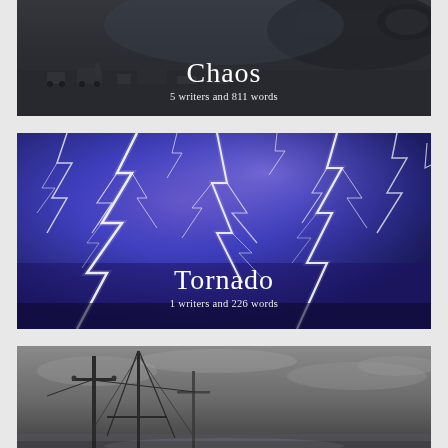[Figure (photo): Airport tarmac scene with aircraft ground equipment and vehicles, dark moody tones. Title overlay: 'Chaos', subtitle: '5 writers and 811 words']
[Figure (photo): Lightning storm with vivid blue-purple sky and multiple lightning bolts. Title overlay: 'Tornado', subtitle: '1 writers and 226 words']
[Figure (photo): Overcast seascape with sailboat masts and utility poles silhouetted against grey sky. Title overlay: 'Prose']